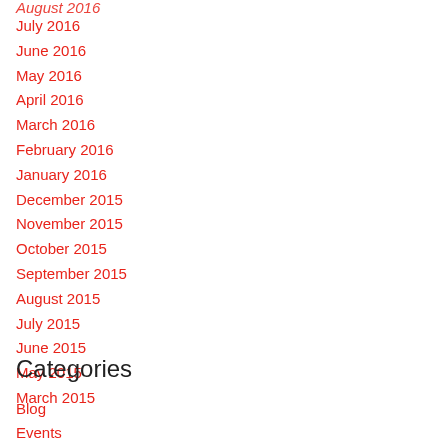August 2016
July 2016
June 2016
May 2016
April 2016
March 2016
February 2016
January 2016
December 2015
November 2015
October 2015
September 2015
August 2015
July 2015
June 2015
May 2015
March 2015
Categories
Blog
Events